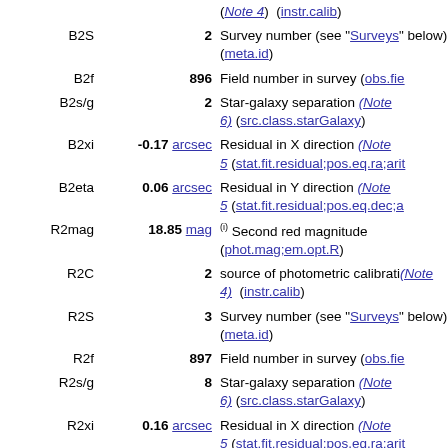| Name | Value | Description |
| --- | --- | --- |
|  |  | (Note 4)  (instr.calib) |
| B2S | 2 | Survey number (see "Surveys" below) (meta.id) |
| B2f | 896 | Field number in survey (obs.fie…) |
| B2s/g | 2 | Star-galaxy separation (Note 6) (src.class.starGalaxy) |
| B2xi | -0.17 arcsec | Residual in X direction (Note 5) (stat.fit.residual;pos.eq.ra;arit…) |
| B2eta | 0.06 arcsec | Residual in Y direction (Note 5) (stat.fit.residual;pos.eq.dec;ar…) |
| R2mag | 18.85 mag | (i) Second red magnitude (phot.mag;em.opt.R) |
| R2C | 2 | source of photometric calibration (Note 4)  (instr.calib) |
| R2S | 3 | Survey number (see "Surveys" below) (meta.id) |
| R2f | 897 | Field number in survey (obs.fie…) |
| R2s/g | 8 | Star-galaxy separation (Note 6) (src.class.starGalaxy) |
| R2xi | 0.16 arcsec | Residual in X direction (Note 5) (stat.fit.residual;pos.eq.ra;arit…) |
| R2eta | -0.07 arcsec | Residual in Y direction (Note 5) (stat.fit.residual;pos.eq.dec;…) |